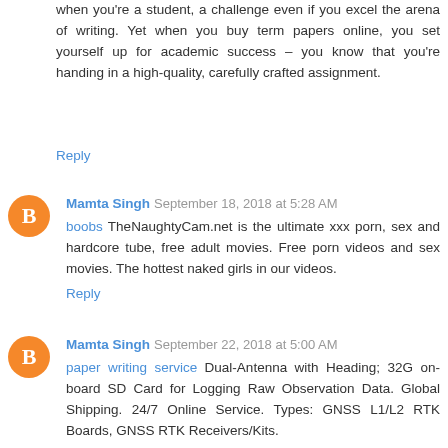when you're a student, a challenge even if you excel the arena of writing. Yet when you buy term papers online, you set yourself up for academic success – you know that you're handing in a high-quality, carefully crafted assignment.
Reply
Mamta Singh  September 18, 2018 at 5:28 AM
boobs TheNaughtyCam.net is the ultimate xxx porn, sex and hardcore tube, free adult movies. Free porn videos and sex movies. The hottest naked girls in our videos.
Reply
Mamta Singh  September 22, 2018 at 5:00 AM
paper writing service Dual-Antenna with Heading; 32G onboard SD Card for Logging Raw Observation Data. Global Shipping. 24/7 Online Service. Types: GNSS L1/L2 RTK Boards, GNSS RTK Receivers/Kits.